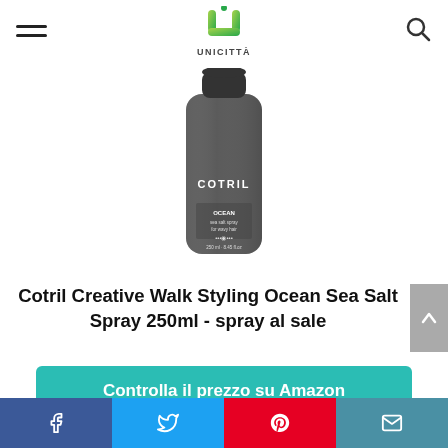UNICITTÀ - navigation header with hamburger menu and search icon
[Figure (photo): Dark grey cylindrical bottle of Cotril Creative Walk Ocean Sea Salt Spray 250ml with black cap, showing COTRIL branding and product details on label]
Cotril Creative Walk Styling Ocean Sea Salt Spray 250ml - spray al sale
Controlla il prezzo su Amazon
Social share bar: Facebook, Twitter, Pinterest, Email